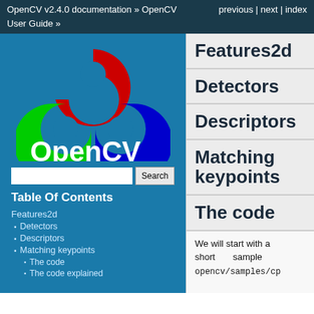OpenCV v2.4.0 documentation » OpenCV   previous | next | index
User Guide »
[Figure (logo): OpenCV logo with three interlocking shapes in red, green, and blue, with the text 'OpenCV' below in white on a teal/blue background]
Search [input field] [Search button]
Table Of Contents
Features2d
Detectors
Descriptors
Matching keypoints
The code
The code explained
Features2d
Detectors
Descriptors
Matching keypoints
The code
We will start with a short sample opencv/samples/cp